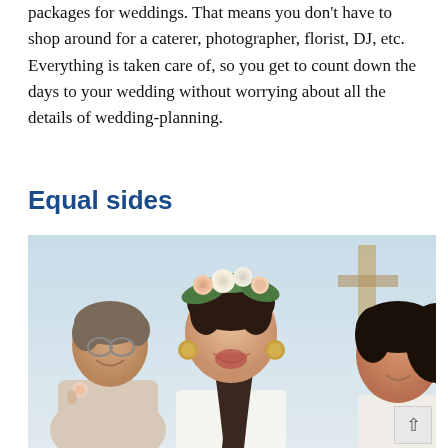packages for weddings. That means you don't have to shop around for a caterer, photographer, florist, DJ, etc. Everything is taken care of, so you get to count down the days to your wedding without worrying about all the details of wedding-planning.
Equal sides
[Figure (photo): Three women laughing together outdoors, one in the center wearing a floral crown made of roses and greenery, with a braided hairstyle and large earrings, smiling broadly. An older woman with short hair is on the left, and a younger woman is partially visible on the right.]